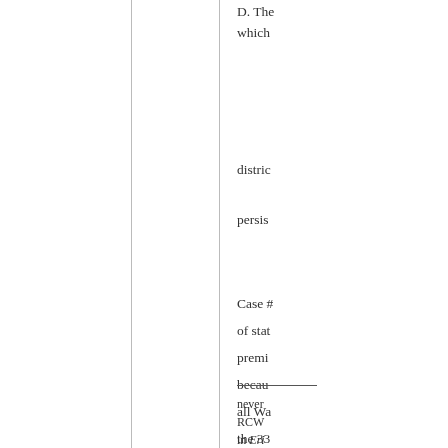D. The which
distric
persis
Case # of stat premi becau all Wa the 33
never RCW in Eri